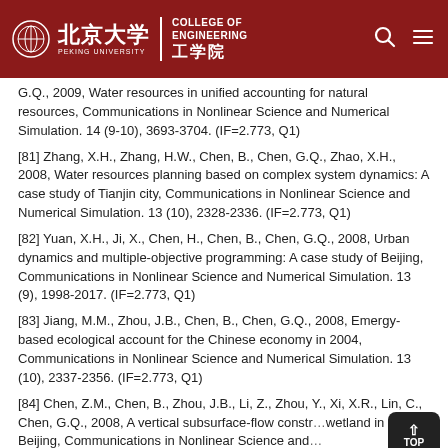北京大学 COLLEGE OF ENGINEERING 工学院
G.Q., 2009, Water resources in unified accounting for natural resources, Communications in Nonlinear Science and Numerical Simulation. 14 (9-10), 3693-3704. (IF=2.773, Q1)
[81] Zhang, X.H., Zhang, H.W., Chen, B., Chen, G.Q., Zhao, X.H., 2008, Water resources planning based on complex system dynamics: A case study of Tianjin city, Communications in Nonlinear Science and Numerical Simulation. 13 (10), 2328-2336. (IF=2.773, Q1)
[82] Yuan, X.H., Ji, X., Chen, H., Chen, B., Chen, G.Q., 2008, Urban dynamics and multiple-objective programming: A case study of Beijing, Communications in Nonlinear Science and Numerical Simulation. 13 (9), 1998-2017. (IF=2.773, Q1)
[83] Jiang, M.M., Zhou, J.B., Chen, B., Chen, G.Q., 2008, Emergy-based ecological account for the Chinese economy in 2004, Communications in Nonlinear Science and Numerical Simulation. 13 (10), 2337-2356. (IF=2.773, Q1)
[84] Chen, Z.M., Chen, B., Zhou, J.B., Li, Z., Zhou, Y., Xi, X.R., Lin, C., Chen, G.Q., 2008, A vertical subsurface-flow constructed wetland in Beijing, Communications in Nonlinear Science and